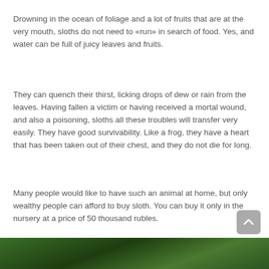Drowning in the ocean of foliage and a lot of fruits that are at the very mouth, sloths do not need to «run» in search of food. Yes, and water can be full of juicy leaves and fruits.
They can quench their thirst, licking drops of dew or rain from the leaves. Having fallen a victim or having received a mortal wound, and also a poisoning, sloths all these troubles will transfer very easily. They have good survivability. Like a frog, they have a heart that has been taken out of their chest, and they do not die for long.
Many people would like to have such an animal at home, but only wealthy people can afford to buy sloth. You can buy it only in the nursery at a price of 50 thousand rubles.
[Figure (photo): Photo of a sloth in green foliage, partially visible at bottom of page]